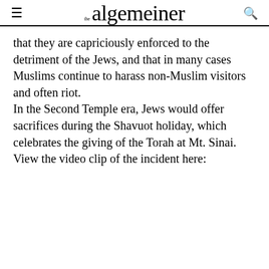the algemeiner
that they are capriciously enforced to the detriment of the Jews, and that in many cases Muslims continue to harass non-Muslim visitors and often riot.
In the Second Temple era, Jews would offer sacrifices during the Shavuot holiday, which celebrates the giving of the Torah at Mt. Sinai.
View the video clip of the incident here: